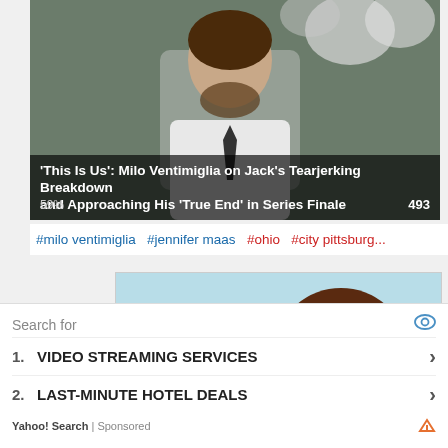[Figure (screenshot): Video thumbnail showing a man in white shirt and black tie with flowers in background. Overlay text: 'This Is Us': Milo Ventimiglia on Jack's Tearjerking Breakdown and Approaching His 'True End' in Series Finale. Progress indicator 59% and view count 493.]
#milo ventimiglia  #jennifer maas  #ohio  #city pittsburg...
[Figure (illustration): Anime-style illustration of a girl character named Eva with brown hair, glasses, green eyes, wearing a light blue hoodie. 'Eva' text visible in light blue on the left side.]
Search for
1.  VIDEO STREAMING SERVICES
2.  LAST-MINUTE HOTEL DEALS
Yahoo! Search | Sponsored